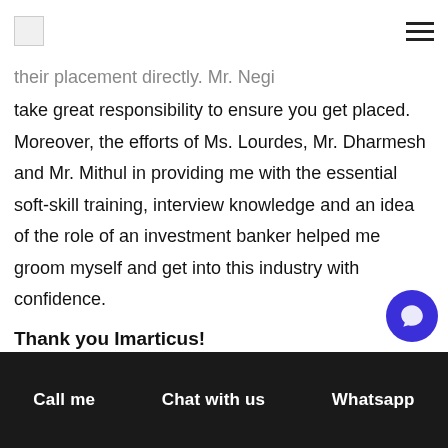[Logo] [Hamburger menu]
their placement directly. Mr. Negi
take great responsibility to ensure you get placed. Moreover, the efforts of Ms. Lourdes, Mr. Dharmesh and Mr. Mithul in providing me with the essential soft-skill training, interview knowledge and an idea of the role of an investment banker helped me groom myself and get into this industry with confidence.
Thank you Imarticus!
Post the course and successful placement at SS&C GlobeOp, I find I can speak endlessly about many subjects and even talk to strangers. I owe my new job and career to Imarticus I have no doubt to
Call me  Chat with us  Whatsapp